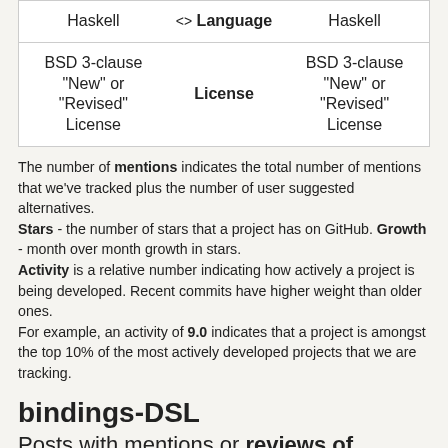| Left | Label | Right |
| --- | --- | --- |
| Haskell | <> Language | Haskell |
| BSD 3-clause "New" or "Revised" License | License | BSD 3-clause "New" or "Revised" License |
The number of mentions indicates the total number of mentions that we've tracked plus the number of user suggested alternatives. Stars - the number of stars that a project has on GitHub. Growth - month over month growth in stars. Activity is a relative number indicating how actively a project is being developed. Recent commits have higher weight than older ones. For example, an activity of 9.0 indicates that a project is amongst the top 10% of the most actively developed projects that we are tracking.
bindings-DSL
Posts with mentions or reviews of bindings-DSL. We have used some of these posts to build our list of alternatives and similar projects. The last one was on 2022-07-28.